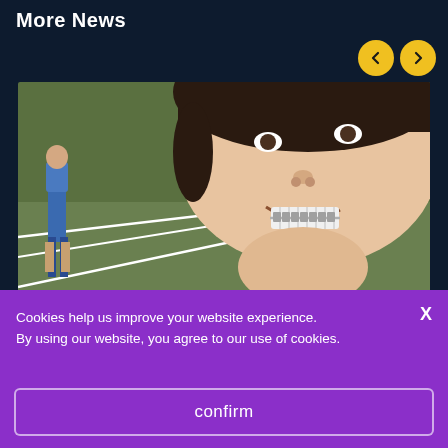More News
[Figure (photo): Close-up photo of a child smiling with braces on a sports court/field, with another child in a blue sports uniform visible in the background]
25 AUG 2022
Cookies help us improve your website experience. By using our website, you agree to our use of cookies.
confirm